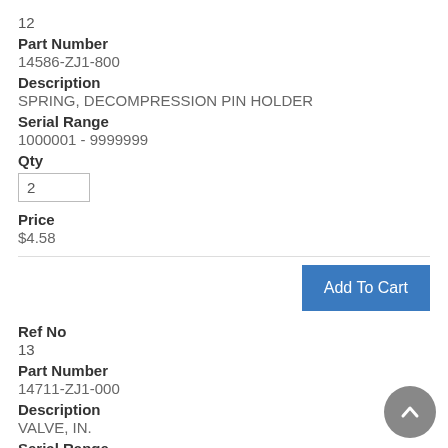12
Part Number
14586-ZJ1-800
Description
SPRING, DECOMPRESSION PIN HOLDER
Serial Range
1000001 - 9999999
Qty
2
Price
$4.58
Add To Cart
Ref No
13
Part Number
14711-ZJ1-000
Description
VALVE, IN.
Serial Range